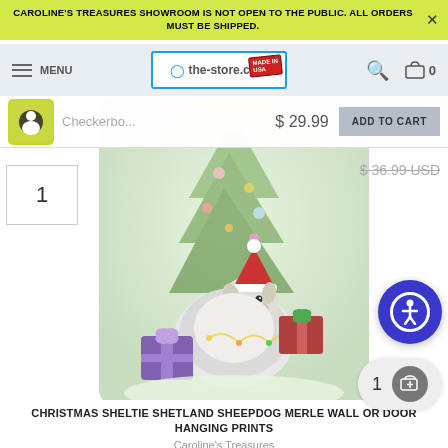CAROLINE'S TREASURES SHOWROOM IS NOT OPEN TO THE PUBLIC. ALL ORDERS MUST BE SHIPPED.
[Figure (screenshot): E-commerce navigation bar with menu icon, the-store.com logo with 'Made in USA' badge, search icon, and cart icon showing 0 items]
[Figure (screenshot): Sticky add-to-cart bar showing thumbnail of checkerboard pillow with dog, truncated product name 'Checkerbo...', price $29.99, and ADD TO CART button]
[Figure (illustration): Christmas Sheltie Shetland Sheepdog Merle wall or door hanging print showing a fluffy dog wearing a Santa hat, surrounded by Christmas tree, ornaments, and wrapped presents with lights]
1
$ 36.99 USD
[Figure (illustration): Accessibility button - blue circle with person icon]
1
CHRISTMAS SHELTIE SHETLAND SHEEPDOG MERLE WALL OR DOOR HANGING PRINTS
Caroline's Treasures
☆☆☆☆☆
$ 24.99 USD $ 29.99 USD